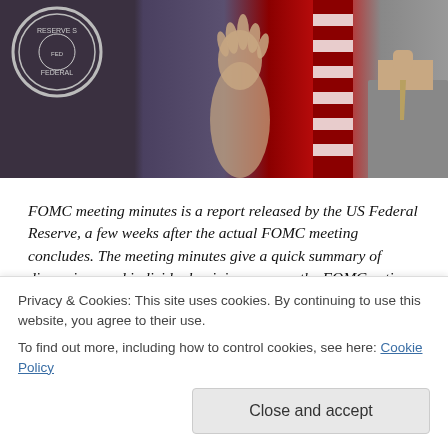[Figure (photo): Photo showing a Federal Reserve press conference or FOMC meeting, with a person gesturing with their hand raised, the Federal Reserve seal visible on the left, flags in the background including an American flag.]
FOMC meeting minutes is a report released by the US Federal Reserve, a few weeks after the actual FOMC meeting concludes. The meeting minutes give a quick summary of discussions and individual opinions among the FOMC voting members.
FOMC Minutes meeting is an often sought after economic release made by FOMC. An acronym for the Federal Open Market Committee which is a part of the Federal Reserve System, the Central bank for the US. The FOMC meets eight
influences other aspects such as the housing markets, short
Privacy & Cookies: This site uses cookies. By continuing to use this website, you agree to their use.
To find out more, including how to control cookies, see here: Cookie Policy
Close and accept